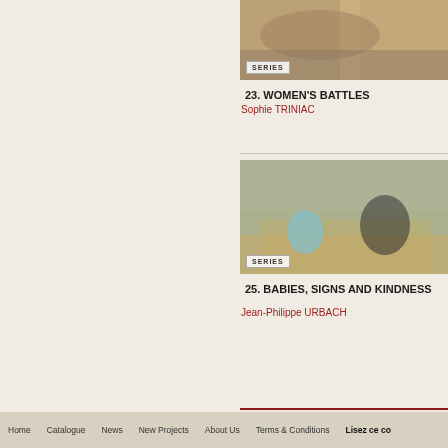[Figure (photo): Close-up photo of hands, labeled SERIES badge in bottom-left corner]
23. WOMEN'S BATTLES
Sophie TRINIAC
[Figure (photo): Photo of a toddler and a woman sitting on a floor with papers between them, labeled SERIES badge in bottom-left corner]
25. BABIES, SIGNS AND KINDNESS
Jean-Philippe URBACH
Home  Catalogue  News  New Projects  About Us  Terms & Conditions  Lisez ce co